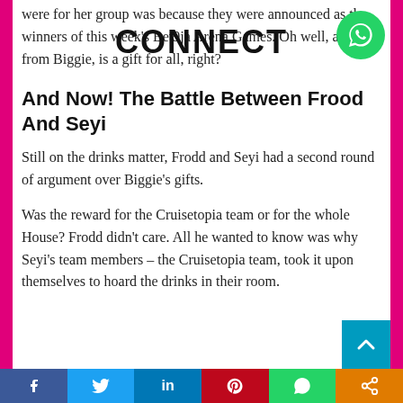were for her group was because they were announced as the winners of this week's Bet9ja Arena Games. Oh well, a gift from Biggie, is a gift for all, right?
And Now! The Battle Between Frood And Seyi
Still on the drinks matter, Frodd and Seyi had a second round of argument over Biggie's gifts.
Was the reward for the Cruisetopia team or for the whole House? Frodd didn't care. All he wanted to know was why Seyi's team members – the Cruisetopia team, took it upon themselves to hoard the drinks in their room.
[Figure (logo): CONNECT text overlay with WhatsApp icon in top right]
Social share bar: Facebook, Twitter, LinkedIn, Pinterest, WhatsApp, Share